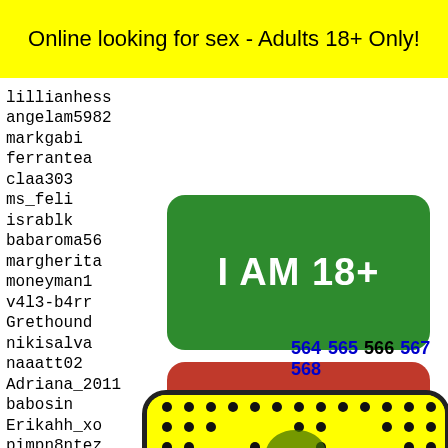Online looking for sex - Adults 18+ Only!
lillianhess
angelam5982
markgabi
ferrantea
claa303
ms_feli
israblk
babaroma56
margherita
moneyman1
v4l3-b4rr
Grethound
nikisalva
naaatt02
Adriana_2011
babosin
Erikahh_xo
pimpn8ntez
catvalentine009
jasmin
pdaddy
kittie
kuti12
made17
tacosr
[Figure (other): Green button with text I AM 18+]
[Figure (other): Red button with text EXIT]
564 565 566 567 568
[Figure (other): Snapchat ghost logo on yellow background with black dots pattern]